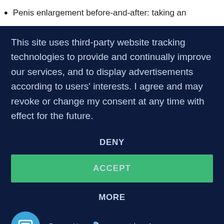Penis enlargement before-and-after: taking an
This site uses third-party website tracking technologies to provide and continually improve our services, and to display advertisements according to users' interests. I agree and may revoke or change my consent at any time with effect for the future.
DENY
ACCEPT
MORE
[Figure (logo): Usercentrics consent management logo with blue circle icon and dot-pattern branding. Text reads: Powered by [dots] usercentrics &]
Powered by usercentrics &